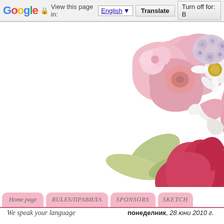Google  View this page in: English [▼]  Translate  Turn off for: B
[Figure (photo): Decorative floral arrangement with pink and red paper flowers, white daisy, green leaves, and white ribbon on white background]
[Figure (screenshot): Navigation menu bar with pink rounded-tab buttons: Home page, RULES/ПРАВИЛА, SPONSORS, SKETCH]
We speak your language
понеделник, 28 юни 2010 г.
[Figure (screenshot): Select Language dropdown widget]
Powered by Google Translate
Make it in an hou
The Crazy Team
Ето, че отново е понеделник колко чудесно би било денят прекрасно лятно време, не с
Stefilo Habbyl and